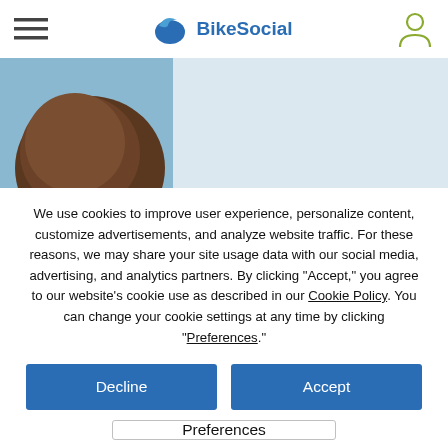BikeSocial
[Figure (photo): Partial view of a person's head from above against a light blue sky background]
We use cookies to improve user experience, personalize content, customize advertisements, and analyze website traffic. For these reasons, we may share your site usage data with our social media, advertising, and analytics partners. By clicking "Accept," you agree to our website's cookie use as described in our Cookie Policy. You can change your cookie settings at any time by clicking “Preferences.”
Decline
Accept
Preferences